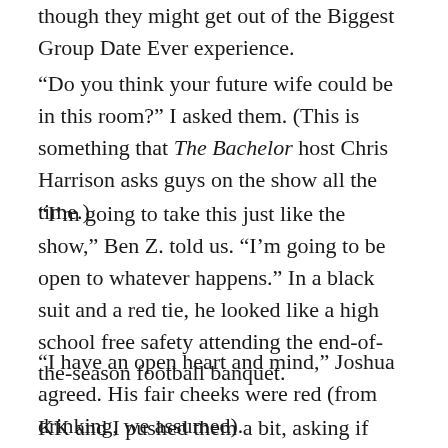though they might get out of the Biggest Group Date Ever experience.
“Do you think your future wife could be in this room?” I asked them. (This is something that The Bachelor host Chris Harrison asks guys on the show all the time.)
“I’m going to take this just like the show,” Ben Z. told us. “I’m going to be open to whatever happens.” In a black suit and a red tie, he looked like a high school free safety attending the end-of-the-season football banquet.
“I have an open heart and mind,” Joshua agreed. His fair cheeks were red (from drinking, we assumed).
KK and I pushed them a bit, asking if they would really